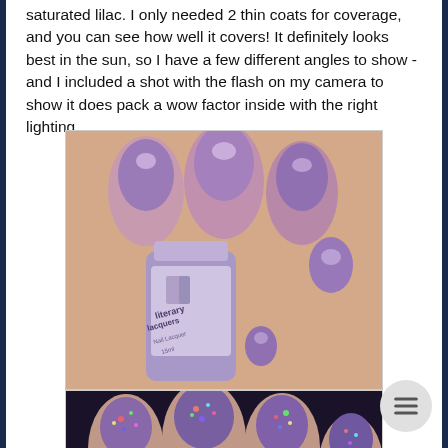saturated lilac. I only needed 2 thin coats for coverage, and you can see how well it covers! It definitely looks best in the sun, so I have a few different angles to show - and I included a shot with the flash on my camera to show it does pack a wow factor inside with the right lighting.
[Figure (photo): Close-up photo of hand with purple/lilac holographic glitter nail polish applied, holding a Literary Lacquers nail polish bottle. The nails show a shimmery metallic purple finish.]
[Figure (photo): Close-up photo of nails painted with purple holographic glitter polish showing rainbow sparkle effect, taken with flash to show holographic properties.]